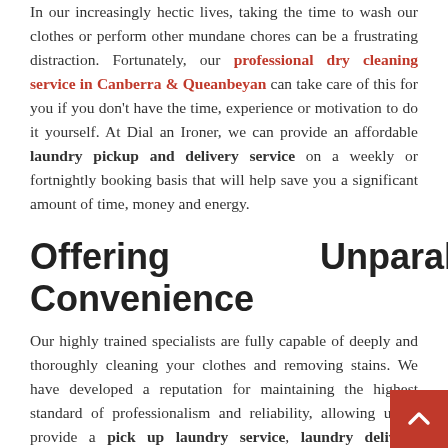In our increasingly hectic lives, taking the time to wash our clothes or perform other mundane chores can be a frustrating distraction. Fortunately, our professional dry cleaning service in Canberra & Queanbeyan can take care of this for you if you don't have the time, experience or motivation to do it yourself. At Dial an Ironer, we can provide an affordable laundry pickup and delivery service on a weekly or fortnightly booking basis that will help save you a significant amount of time, money and energy.
Offering Unparalleled Convenience
Our highly trained specialists are fully capable of deeply and thoroughly cleaning your clothes and removing stains. We have developed a reputation for maintaining the highest standard of professionalism and reliability, allowing us to provide a pick up laundry service, laundry delivery service, shirt wash and press service in a timely and convenient fashion. With money back guarantees for additional peace of